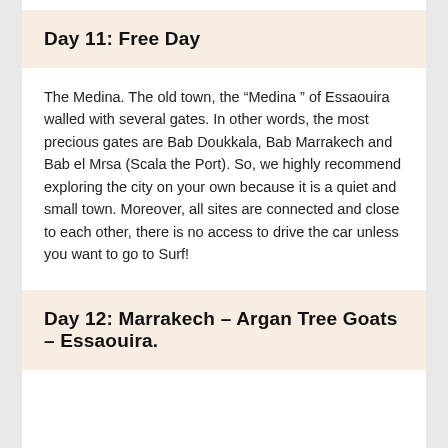Day 11: Free Day
The Medina. The old town, the “Medina ” of Essaouira walled with several gates. In other words, the most precious gates are Bab Doukkala, Bab Marrakech and Bab el Mrsa (Scala the Port). So, we highly recommend exploring the city on your own because it is a quiet and small town. Moreover, all sites are connected and close to each other, there is no access to drive the car unless you want to go to Surf!
Day 12: Marrakech – Argan Tree Goats – Essaouira.